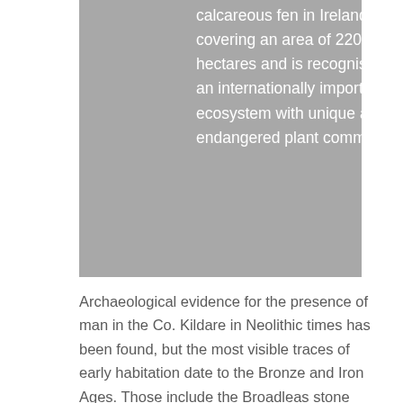[Figure (photo): Gray rectangular image block showing text overlay about calcareous fen in Ireland]
calcareous fen in Ireland, covering an area of 220 hectares and is recognised as an internationally important ecosystem with unique and endangered plant communities.
Archaeological evidence for the presence of man in the Co. Kildare in Neolithic times has been found, but the most visible traces of early habitation date to the Bronze and Iron Ages. Those include the Broadleas stone